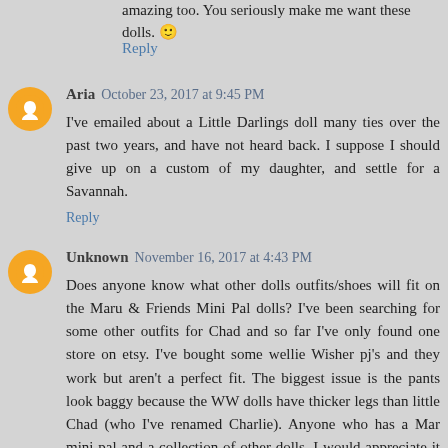amazing too. You seriously make me want these dolls. 🙂
Reply
Aria  October 23, 2017 at 9:45 PM
I've emailed about a Little Darlings doll many ties over the past two years, and have not heard back. I suppose I should give up on a custom of my daughter, and settle for a Savannah.
Reply
Unknown  November 16, 2017 at 4:43 PM
Does anyone know what other dolls outfits/shoes will fit on the Maru & Friends Mini Pal dolls? I've been searching for some other outfits for Chad and so far I've only found one store on etsy. I've bought some wellie Wisher pj's and they work but aren't a perfect fit. The biggest issue is the pants look baggy because the WW dolls have thicker legs than little Chad (who I've renamed Charlie). Anyone who has a Mar mini pal and a collection of other dolls, I would appreciate it if you would let me know what outfits will fit them.